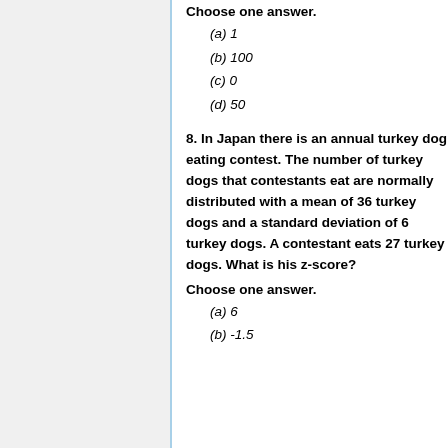Choose one answer.
(a) 1
(b) 100
(c) 0
(d) 50
8. In Japan there is an annual turkey dog eating contest. The number of turkey dogs that contestants eat are normally distributed with a mean of 36 turkey dogs and a standard deviation of 6 turkey dogs. A contestant eats 27 turkey dogs. What is his z-score?
Choose one answer.
(a) 6
(b) -1.5